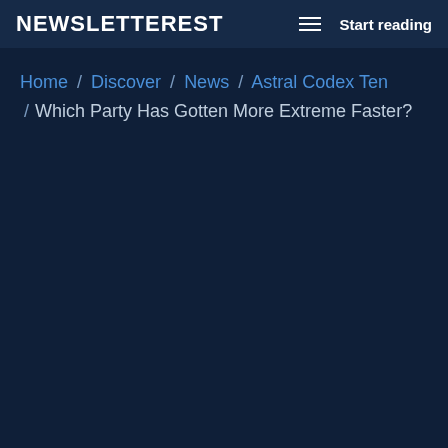NEWSLETTEREST / Start reading
Home / Discover / News / Astral Codex Ten / Which Party Has Gotten More Extreme Faster?